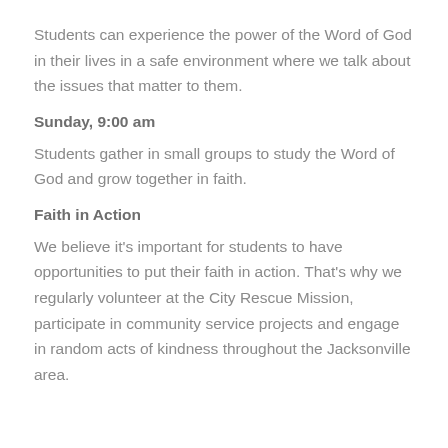Students can experience the power of the Word of God in their lives in a safe environment where we talk about the issues that matter to them.
Sunday, 9:00 am
Students gather in small groups to study the Word of God and grow together in faith.
Faith in Action
We believe it's important for students to have opportunities to put their faith in action. That's why we regularly volunteer at the City Rescue Mission, participate in community service projects and engage in random acts of kindness throughout the Jacksonville area.